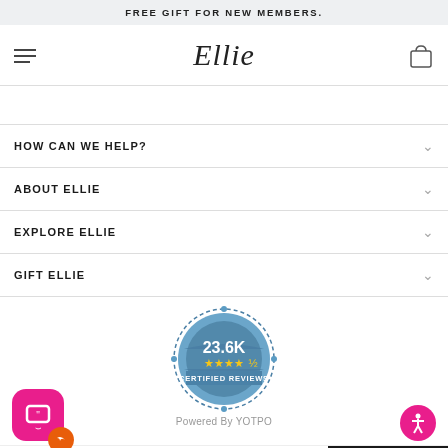FREE GIFT FOR NEW MEMBERS.
[Figure (logo): Ellie brand logo in cursive script with hamburger menu icon on left and shopping bag icon on right]
HOW CAN WE HELP?
ABOUT ELLIE
EXPLORE ELLIE
GIFT ELLIE
[Figure (infographic): 23.6K Certified Reviews badge in blue with 4.5 gold stars, Powered By YOTPO text below]
[Figure (illustration): Pink chat widget icon with quotation marks and orange reply arrow, plus pink accessibility icon in bottom right]